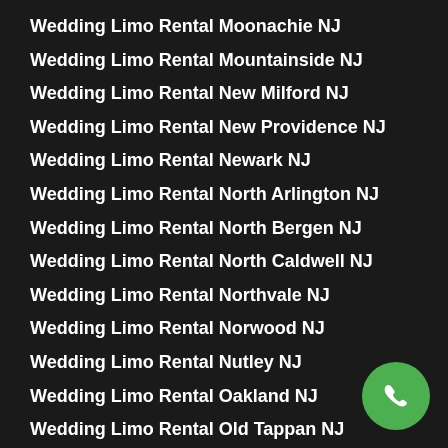Wedding Limo Rental Moonachie NJ
Wedding Limo Rental Mountainside NJ
Wedding Limo Rental New Milford NJ
Wedding Limo Rental New Providence NJ
Wedding Limo Rental Newark NJ
Wedding Limo Rental North Arlington NJ
Wedding Limo Rental North Bergen NJ
Wedding Limo Rental North Caldwell NJ
Wedding Limo Rental Northvale NJ
Wedding Limo Rental Norwood NJ
Wedding Limo Rental Nutley NJ
Wedding Limo Rental Oakland NJ
Wedding Limo Rental Old Tappan NJ
Wedding Limo Rental Oradell NJ
Wedding Limo Rental Orange NJ
Wedding Limo Rental Palisades Park NJ
Wedding Limo Rental Paramus NJ